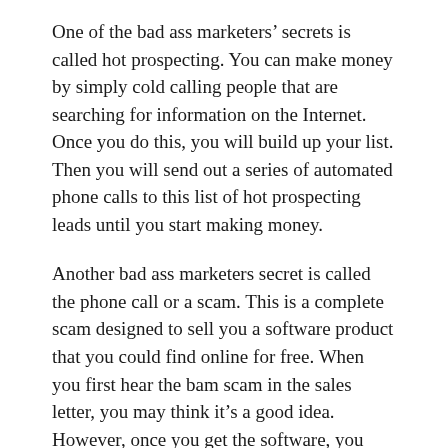One of the bad ass marketers' secrets is called hot prospecting. You can make money by simply cold calling people that are searching for information on the Internet. Once you do this, you will build up your list. Then you will send out a series of automated phone calls to this list of hot prospecting leads until you start making money.
Another bad ass marketers secret is called the phone call or a scam. This is a complete scam designed to sell you a software product that you could find online for free. When you first hear the bam scam in the sales letter, you may think it's a good idea. However, once you get the software, you could find out it doesn't work, and you're left with a bunch of affiliate links and no visitors.
A final bad ass marketers secret is called “zoom calls.” It is a phone calling technology for prospects that...